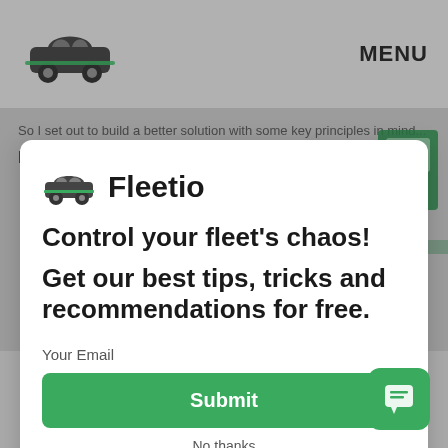[Figure (screenshot): Mobile website screenshot of Fleetio fleet management software with a popup modal overlay. Background shows nav bar with Fleetio logo and MENU text, article content about Fundamental Goals, and a green Fleetio truck. Foreground shows a white modal card with Fleetio logo, headline 'Control your fleet's chaos! Get our best tips, tricks and recommendations for free.', email field label, green Submit button, and No Thanks link. Chat button visible bottom right.]
MENU
Fundamental Goals
It must be easy to use. Many people at smaller companies take over the responsibility of managing the fleet, but it's not their primary job. They have a million other things to do so their time spent managing the fleet should be quick & effective. You shouldn't need a mechanic background to understand the software.
It must be collaborative. Sure it may be one person's responsibility to oversee the fleet, the rest of the team should be able to...
Control your fleet's chaos!
Get our best tips, tricks and recommendations for free.
Your Email
Submit
No thanks